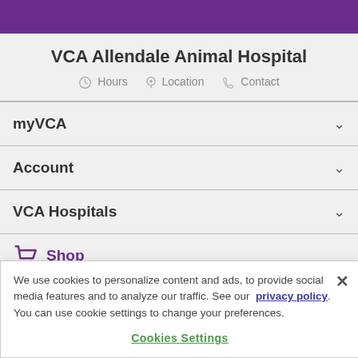VCA Allendale Animal Hospital
Hours  Location  Contact
myVCA
Account
VCA Hospitals
Shop
We use cookies to personalize content and ads, to provide social media features and to analyze our traffic. See our privacy policy. You can use cookie settings to change your preferences.
Cookies Settings